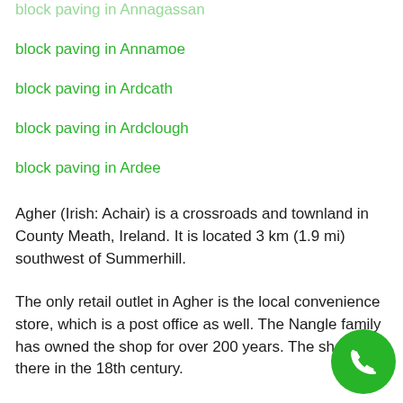block paving in Annagassan
block paving in Annamoe
block paving in Ardcath
block paving in Ardclough
block paving in Ardee
Agher (Irish: Achair) is a crossroads and townland in County Meath, Ireland. It is located 3 km (1.9 mi) southwest of Summerhill.
The only retail outlet in Agher is the local convenience store, which is a post office as well. The Nangle family has owned the shop for over 200 years. The shop was there in the 18th century.